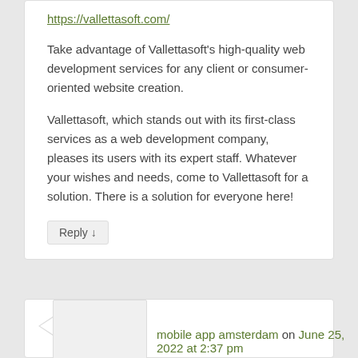https://vallettasoft.com/
Take advantage of Vallettasoft's high-quality web development services for any client or consumer-oriented website creation.
Vallettasoft, which stands out with its first-class services as a web development company, pleases its users with its expert staff. Whatever your wishes and needs, come to Vallettasoft for a solution. There is a solution for everyone here!
Reply ↓
mobile app amsterdam on June 25, 2022 at 2:37 pm